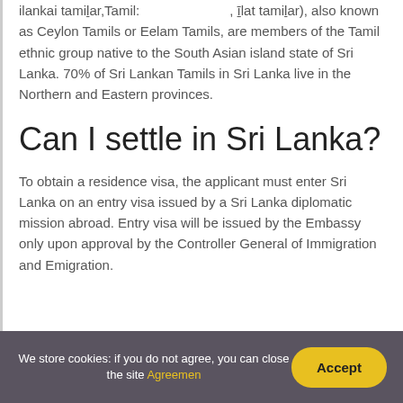ilankai tamiḻar,Tamil: , īḻat tamiḻar), also known as Ceylon Tamils or Eelam Tamils, are members of the Tamil ethnic group native to the South Asian island state of Sri Lanka. 70% of Sri Lankan Tamils in Sri Lanka live in the Northern and Eastern provinces.
Can I settle in Sri Lanka?
To obtain a residence visa, the applicant must enter Sri Lanka on an entry visa issued by a Sri Lanka diplomatic mission abroad. Entry visa will be issued by the Embassy only upon approval by the Controller General of Immigration and Emigration.
We store cookies: if you do not agree, you can close the site Agreemen